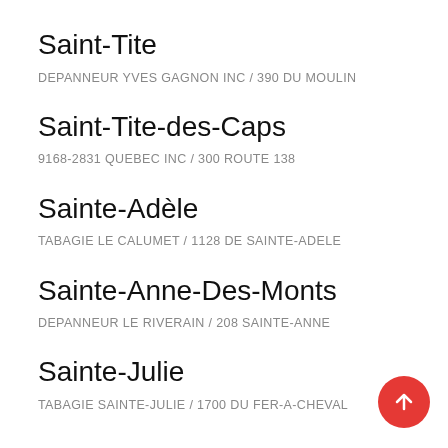Saint-Tite
DEPANNEUR YVES GAGNON INC / 390 DU MOULIN
Saint-Tite-des-Caps
9168-2831 QUEBEC INC / 300 ROUTE 138
Sainte-Adèle
TABAGIE LE CALUMET / 1128 DE SAINTE-ADELE
Sainte-Anne-Des-Monts
DEPANNEUR LE RIVERAIN / 208 SAINTE-ANNE
Sainte-Julie
TABAGIE SAINTE-JULIE / 1700 DU FER-A-CHEVAL